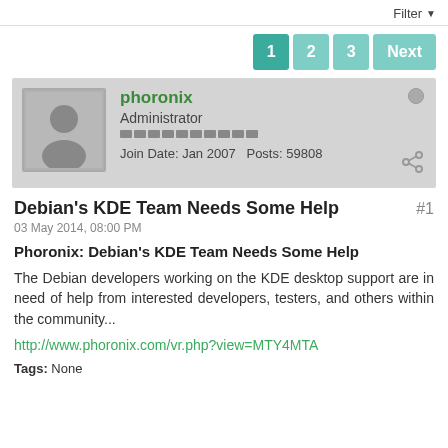Filter ▼
1  2  3  Next
[Figure (illustration): User profile card with avatar silhouette, username phoronix, role Administrator, reputation bar, Join Date: Jan 2007, Posts: 59808, online dot and share icon]
Debian's KDE Team Needs Some Help  #1
03 May 2014, 08:00 PM
Phoronix: Debian's KDE Team Needs Some Help
The Debian developers working on the KDE desktop support are in need of help from interested developers, testers, and others within the community...
http://www.phoronix.com/vr.php?view=MTY4MTA
Tags: None